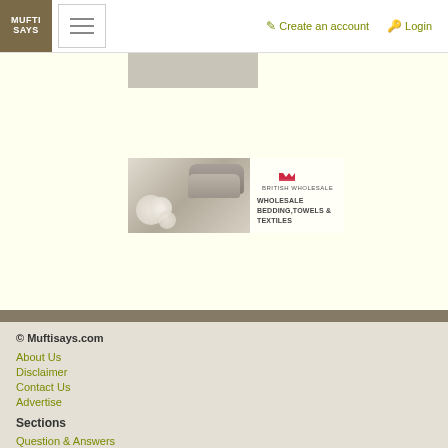Mufti Says — Create an account | Login
[Figure (photo): Partial view of an advertisement image at top, partially cropped]
[Figure (photo): British Wholesales advertisement showing rolled towels and cotton bolls with text: WHOLESALE BEDDING, TOWELS & TEXTILES]
© Muftisays.com
About Us
Disclaimer
Contact Us
Advertise

Sections
Question & Answers
Forum